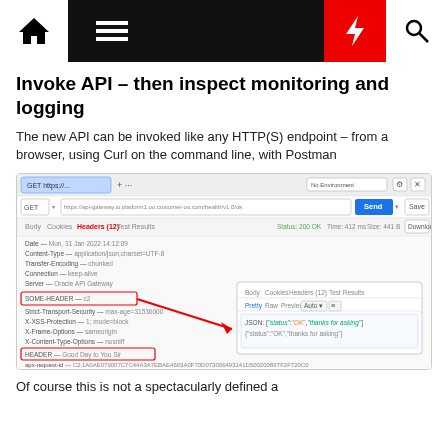[Figure (screenshot): Navigation bar with home icon, hamburger menu, lightning bolt (red), and search icon]
Invoke API – then inspect monitoring and logging
The new API can be invoked like any HTTP(S) endpoint – from a browser, using Curl on the command line, with Postman
[Figure (screenshot): Postman screenshot showing a GET request to an API Gateway URL with custom headers including SOME-HEADER and HEADER, with a red arrow pointing to the response body panel showing JSON response]
Of course this is not a spectacularly defined a